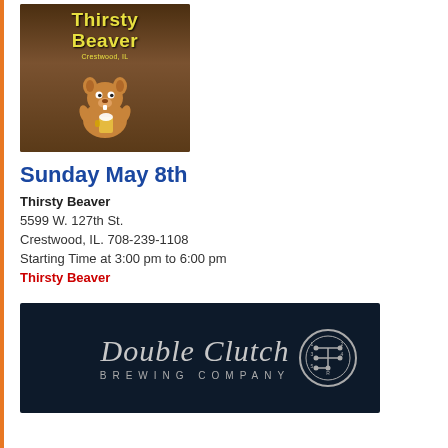[Figure (logo): Thirsty Beaver bar logo with cartoon beaver holding a beer mug, wood background, yellow text reading 'Thirsty Beaver Crestwood, IL']
Sunday May 8th
Thirsty Beaver
5599 W. 127th St.
Crestwood, IL. 708-239-1108
Starting Time at 3:00 pm to 6:00 pm
Thirsty Beaver
[Figure (logo): Double Clutch Brewing Company logo in white script on dark navy background with gear shift circle icon]